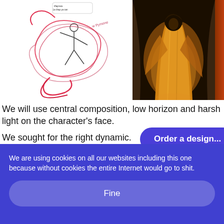[Figure (illustration): A rough pencil and red crayon sketch of a stylized dancing or spinning figure surrounded by swirling red lines and shapes, with a small speech bubble at the top reading 'Ilaptua (a chap ya can go somewhere!)']
[Figure (photo): A dark dramatic painting or digital art image of a robed figure in golden/yellow garments standing in a cave or stone archway, illuminated by light, evoking a religious or mythological scene]
We will use central composition, low horizon and harsh light on the character’s face.
We sought for the right dynamic .
Order a design...
We are using cookies on all our websites including this one because without cookies the entire Internet would go to shit.
Fine